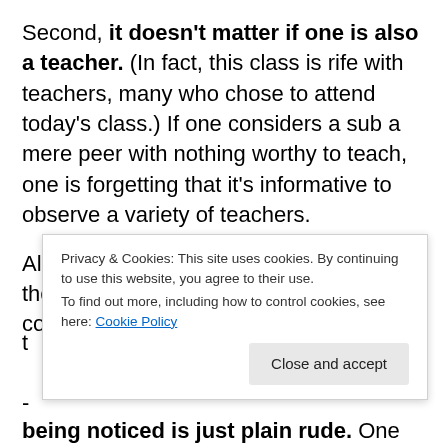Second, it doesn't matter if one is also a teacher. (In fact, this class is rife with teachers, many who chose to attend today's class.) If one considers a sub a mere peer with nothing worthy to teach, one is forgetting that it's informative to observe a variety of teachers.
Also, shouldn't teachers show support for their peers? I can be as critical as they come, but as a teacher myself I think that...
being noticed is just plain rude. One might